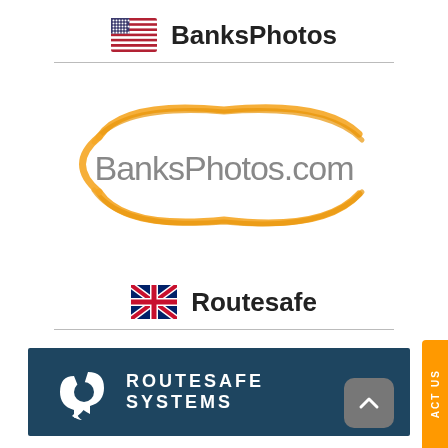[Figure (logo): US flag icon with BanksPhotos brand name in bold]
[Figure (logo): BanksPhotos.com logo with orange brush-stroke ellipse around grey text]
[Figure (logo): UK flag icon with Routesafe brand name in bold]
[Figure (logo): Routesafe Systems logo: white icon and white text on dark navy background]